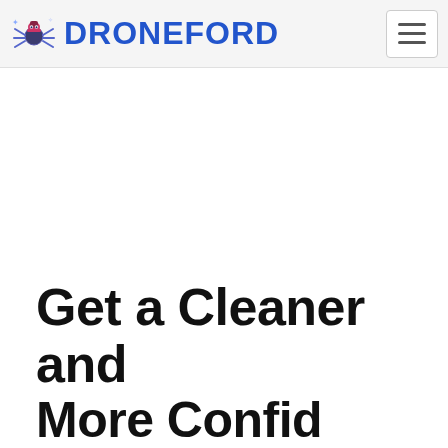DroneFord – navigation header with logo and hamburger menu
Get a Cleaner and More Confident